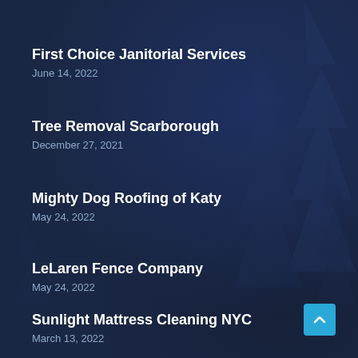First Choice Janitorial Services
June 14, 2022
Tree Removal Scarborough
December 27, 2021
Mighty Dog Roofing of Katy
May 24, 2022
LeLaren Fence Company
May 24, 2022
Sunlight Mattress Cleaning NYC
March 13, 2022